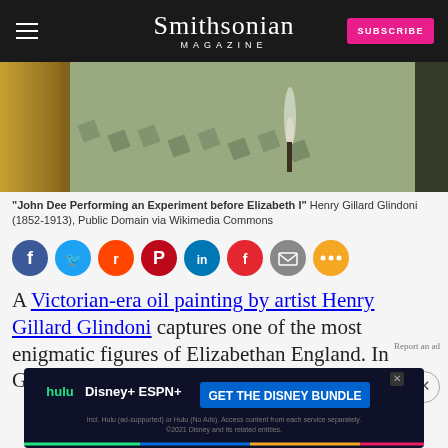Smithsonian Magazine
[Figure (photo): Partial view of painting 'John Dee Performing an Experiment before Elizabeth I' by Henry Gillard Glindoni, showing ornate floor, golden robes on left, dark figure on right, smoke/flame in center]
"John Dee Performing an Experiment before Elizabeth I" Henry Gillard Glindoni (1852-1913), Public Domain via Wikimedia Commons
[Figure (other): Social sharing icons: Facebook, Twitter, Reddit, Pinterest, LinkedIn, Flipboard, Email, More]
A Victorian-era oil painting by artist Henry Gillard Glindoni captures one of the most enigmatic figures of Elizabethan England. In Glindoni... elevates... ned
[Figure (other): Advertisement banner: GET THE DISNEY BUNDLE featuring Hulu, Disney+, ESPN+]